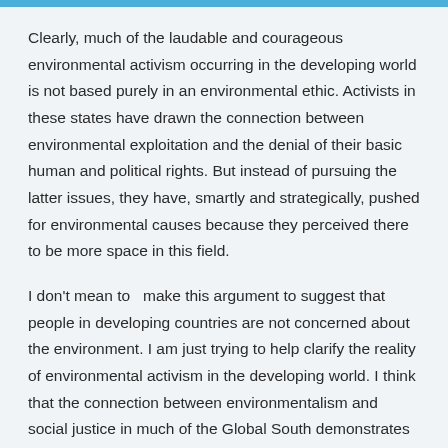Clearly, much of the laudable and courageous environmental activism occurring in the developing world is not based purely in an environmental ethic. Activists in these states have drawn the connection between environmental exploitation and the denial of their basic human and political rights. But instead of pursuing the latter issues, they have, smartly and strategically, pushed for environmental causes because they perceived there to be more space in this field.
I don't mean to  make this argument to suggest that people in developing countries are not concerned about the environment. I am just trying to help clarify the reality of environmental activism in the developing world. I think that the connection between environmentalism and social justice in much of the Global South demonstrates that the siloing of the environment as some singular sector or constituency, as has occurred too often in the US (see Candy Crowley's